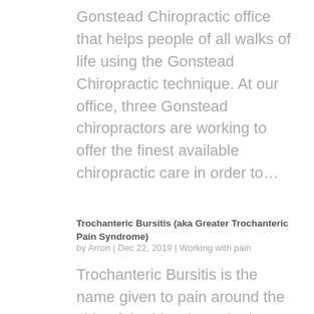Gonstead Chiropractic office that helps people of all walks of life using the Gonstead Chiropractic technique. At our office, three Gonstead chiropractors are working to offer the finest available chiropractic care in order to…
Trochanteric Bursitis (aka Greater Trochanteric Pain Syndrome)
by Arron | Dec 22, 2019 | Working with pain
Trochanteric Bursitis is the name given to pain around the side of the hip where the bony lump along side your groin sticks out. A bursa is a sac filled